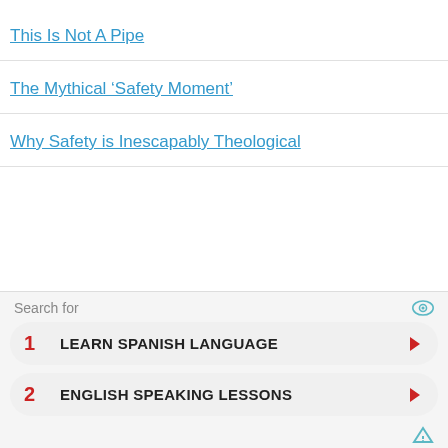This Is Not A Pipe
The Mythical ‘Safety Moment’
Why Safety is Inescapably Theological
[Figure (other): Advertisement block with 'Search for' header and two search result rows: 1. LEARN SPANISH LANGUAGE, 2. ENGLISH SPEAKING LESSONS]